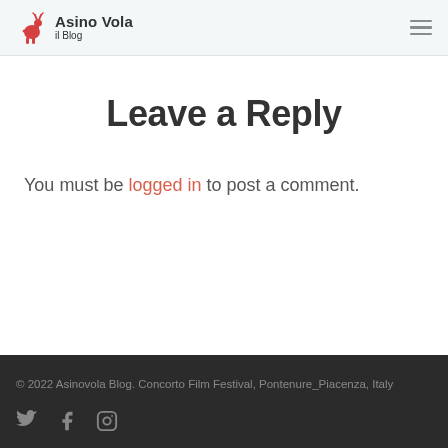Asino Vola il Blog
Leave a Reply
You must be logged in to post a comment.
© 2022 Asinovola Blog. Concorto Film Festival, Pontenure_Piacenza, Italy